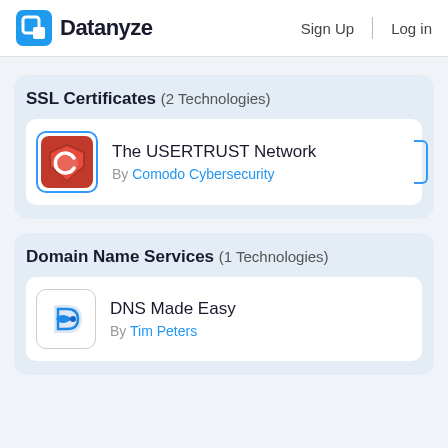Datanyze  Sign Up  Log in
SSL Certificates (2 Technologies)
The USERTRUST Network — By Comodo Cybersecurity
Domain Name Services (1 Technologies)
DNS Made Easy — By Tim Peters